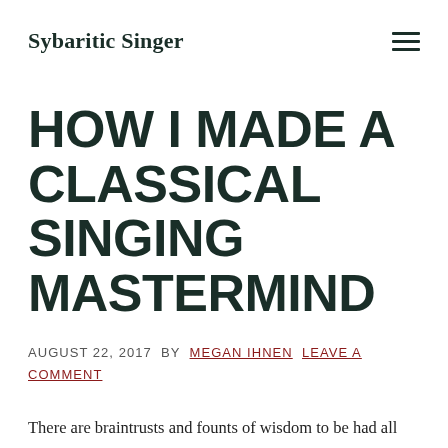Sybaritic Singer
HOW I MADE A CLASSICAL SINGING MASTERMIND
AUGUST 22, 2017 BY MEGAN IHNEN LEAVE A COMMENT
There are braintrusts and founts of wisdom to be had all